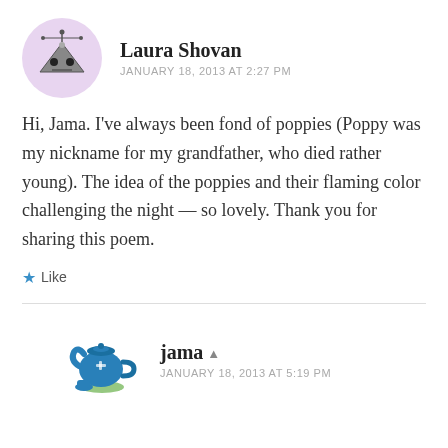[Figure (illustration): Cartoon robot/alien avatar in a pink circle, used as commenter profile image for Laura Shovan]
Laura Shovan
JANUARY 18, 2013 AT 2:27 PM
Hi, Jama. I've always been fond of poppies (Poppy was my nickname for my grandfather, who died rather young). The idea of the poppies and their flaming color challenging the night — so lovely. Thank you for sharing this poem.
★ Like
[Figure (illustration): Cartoon blue teapot avatar used as commenter profile image for jama]
jama
JANUARY 18, 2013 AT 5:19 PM